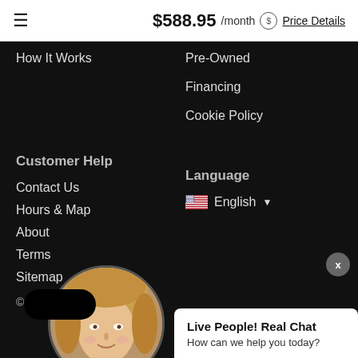$588.95 /month Price Details
How It Works
Pre-Owned
Financing
Cookie Policy
Customer Help
Language
Contact Us
Hours & Map
About
Terms
Sitemap
English
© 2022
[Figure (photo): Circular portrait photo of a blonde woman smiling]
Live People! Real Chat
How can we help you today?